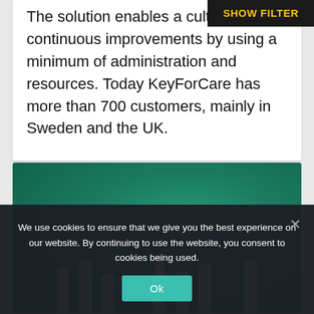The solution enables a culture of continuous improvements by using a minimum of administration and resources. Today KeyForCare has more than 700 customers, mainly in Sweden and the UK.
[Figure (photo): Green textured background image with partial white letter-shaped elements visible at the bottom, partially cropped]
We use cookies to ensure that we give you the best experience on our website. By continuing to use the website, you consent to cookies being used.
Ok